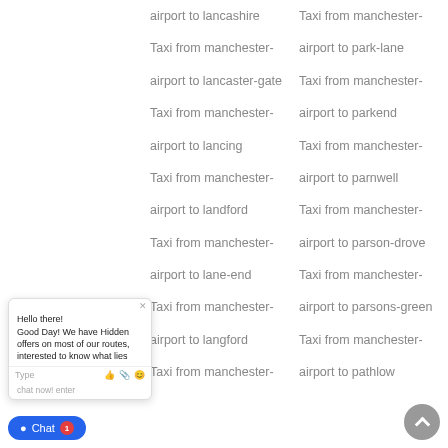airport to lancashire
Taxi from manchester-
Taxi from manchester-
airport to park-lane
airport to lancaster-gate
Taxi from manchester-
Taxi from manchester-
airport to parkend
airport to lancing
Taxi from manchester-
Taxi from manchester-
airport to parnwell
airport to landford
Taxi from manchester-
Taxi from manchester-
airport to parson-drove
airport to lane-end
Taxi from manchester-
Taxi from manchester-
airport to parsons-green
airport to langford
Taxi from manchester-
Taxi from manchester-
airport to pathlow